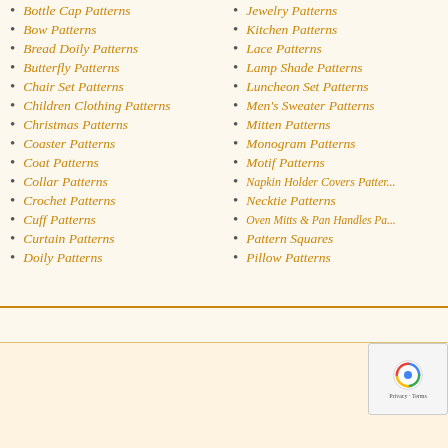Bottle Cap Patterns
Bow Patterns
Bread Doily Patterns
Butterfly Patterns
Chair Set Patterns
Children Clothing Patterns
Christmas Patterns
Coaster Patterns
Coat Patterns
Collar Patterns
Crochet Patterns
Cuff Patterns
Curtain Patterns
Doily Patterns
Jewelry Patterns
Kitchen Patterns
Lace Patterns
Lamp Shade Patterns
Luncheon Set Patterns
Men's Sweater Patterns
Mitten Patterns
Monogram Patterns
Motif Patterns
Napkin Holder Covers Patterns
Necktie Patterns
Oven Mitts & Pan Handles Patterns
Pattern Squares
Pillow Patterns
All contents  Privacy P...  Privacy · Terms